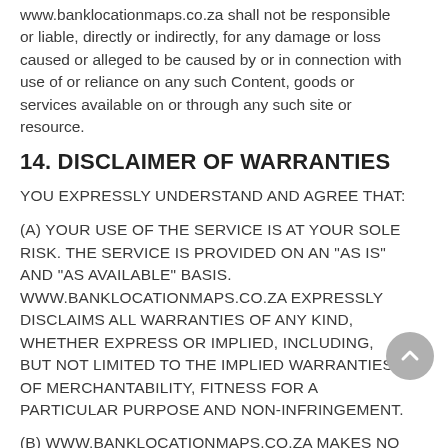www.banklocationmaps.co.za shall not be responsible or liable, directly or indirectly, for any damage or loss caused or alleged to be caused by or in connection with use of or reliance on any such Content, goods or services available on or through any such site or resource.
14. DISCLAIMER OF WARRANTIES
YOU EXPRESSLY UNDERSTAND AND AGREE THAT:
(a) YOUR USE OF THE SERVICE IS AT YOUR SOLE RISK. THE SERVICE IS PROVIDED ON AN "AS IS" AND "AS AVAILABLE" BASIS. www.banklocationmaps.co.za EXPRESSLY DISCLAIMS ALL WARRANTIES OF ANY KIND, WHETHER EXPRESS OR IMPLIED, INCLUDING, BUT NOT LIMITED TO THE IMPLIED WARRANTIES OF MERCHANTABILITY, FITNESS FOR A PARTICULAR PURPOSE AND NON-INFRINGEMENT.
(b) www.banklocationmaps.co.za MAKES NO WARRANTY...